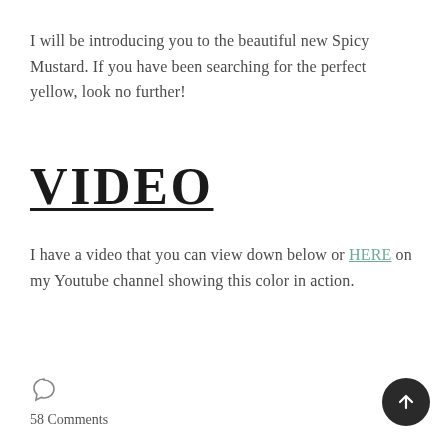I will be introducing you to the beautiful new Spicy Mustard. If you have been searching for the perfect yellow, look no further!
VIDEO
I have a video that you can view down below or HERE on my Youtube channel showing this color in action.
58 Comments